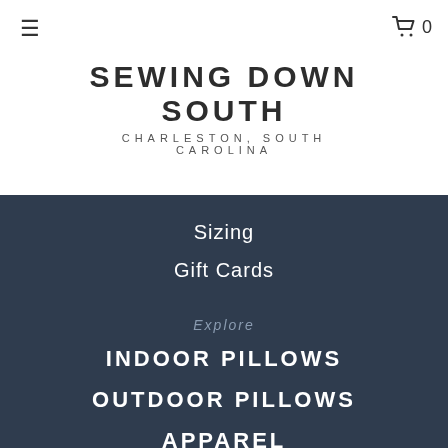≡
🛒 0
SEWING DOWN SOUTH
CHARLESTON, SOUTH CAROLINA
Sizing
Gift Cards
Explore
INDOOR PILLOWS
OUTDOOR PILLOWS
APPAREL
LIFESTYLE
KITCHEN